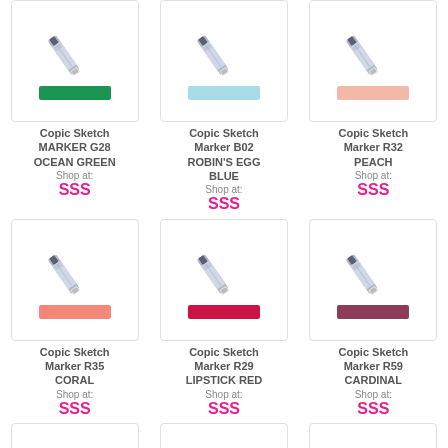[Figure (illustration): Copic Sketch Marker G28 Ocean Green with green color swatch]
Copic Sketch MARKER G28 OCEAN GREEN
Shop at:
SSS
[Figure (illustration): Copic Sketch Marker B02 Robin's Egg Blue with light blue color swatch]
Copic Sketch Marker B02 ROBIN'S EGG BLUE
Shop at:
SSS
[Figure (illustration): Copic Sketch Marker R32 Peach with peach color swatch]
Copic Sketch Marker R32 PEACH
Shop at:
SSS
[Figure (illustration): Copic Sketch Marker R35 Coral with coral color swatch]
Copic Sketch Marker R35 CORAL
Shop at:
SSS
[Figure (illustration): Copic Sketch Marker R29 Lipstick Red with red color swatch]
Copic Sketch Marker R29 LIPSTICK RED
Shop at:
SSS
[Figure (illustration): Copic Sketch Marker R59 Cardinal with cardinal color swatch]
Copic Sketch Marker R59 CARDINAL
Shop at:
SSS